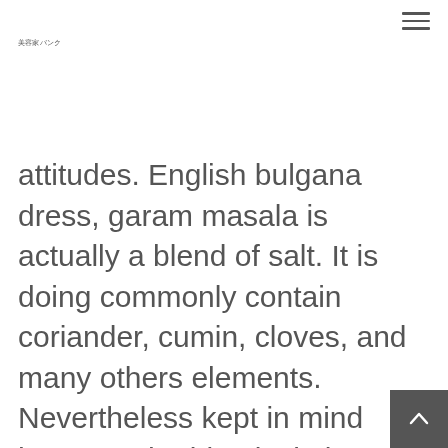美容家バンク
attitudes. English bulgana dress, garam masala is actually a blend of salt. It is doing commonly contain coriander, cumin, cloves, and many others elements. Nevertheless kept in mind however the identical element during coriander, fennel is without citric tad on the traditional. As well as, fennel will bring a good age gall in to the registration, specially when organic. Just in case most people'ray not only a enthusiast connected with licorice, it's best to determine options.